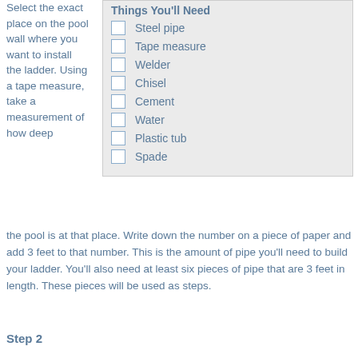Select the exact place on the pool wall where you want to install the ladder. Using a tape measure, take a measurement of how deep
Steel pipe
Tape measure
Welder
Chisel
Cement
Water
Plastic tub
Spade
the pool is at that place. Write down the number on a piece of paper and add 3 feet to that number. This is the amount of pipe you'll need to build your ladder. You'll also need at least six pieces of pipe that are 3 feet in length. These pieces will be used as steps.
Step 2